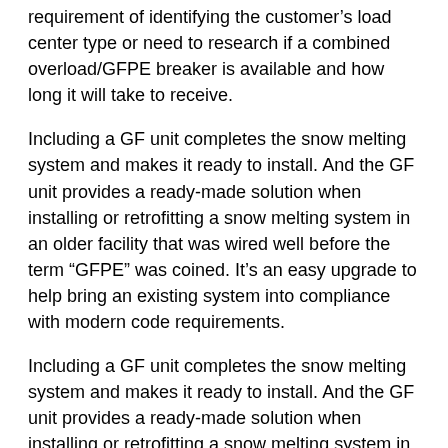requirement of identifying the customer's load center type or need to research if a combined overload/GFPE breaker is available and how long it will take to receive.
Including a GF unit completes the snow melting system and makes it ready to install. And the GF unit provides a ready-made solution when installing or retrofitting a snow melting system in an older facility that was wired well before the term “GFPE” was coined. It’s an easy upgrade to help bring an existing system into compliance with modern code requirements.
Including a GF unit completes the snow melting system and makes it ready to install. And the GF unit provides a ready-made solution when installing or retrofitting a snow melting system in an older facility that was wired well before the term “GFPE” was coined. It’s an easy upgrade to help bring an existing system into compliance with modern code requirements.